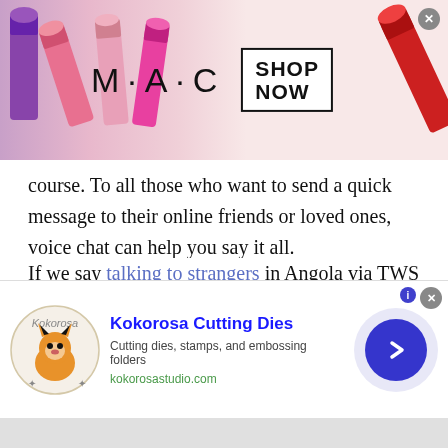[Figure (screenshot): MAC Cosmetics advertisement banner with lipstick images on left and right, MAC logo in center, and 'SHOP NOW' button in a box. Close button in top right corner.]
course. To all those who want to send a quick message to their online friends or loved ones, voice chat can help you say it all.
If we say talking to strangers in Angola via TWS voice message is far better than text message then nothing is wrong about that. The growing popularity of using voice chat or message is ease of use and convenience. Instead of writing long texts people prefer to send a recorded message to their loved
[Figure (screenshot): Kokorosa Cutting Dies advertisement with fox logo, title 'Kokorosa Cutting Dies', description 'Cutting dies, stamps, and embossing folders', website 'kokorosastudio.com', and a blue arrow button on the right.]